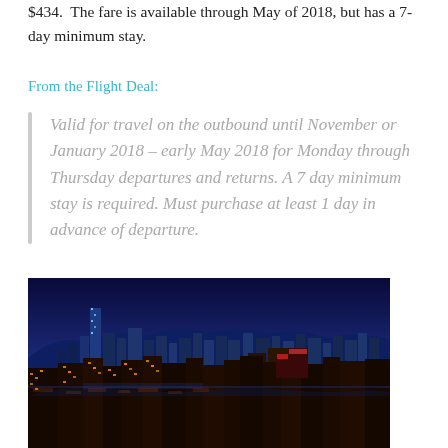$434.  The fare is available through May of 2018, but has a 7-day minimum stay.
From the Flight Deal:
Valid for travel on the outbound until November or January 2018 – early May 2018 for Monday through Thursday departures and returns. A 7 day minimum stay is required. Must purchase at least 1 day in advance of departure.
[Figure (photo): Hong Kong city skyline at night with illuminated skyscrapers and harbor]